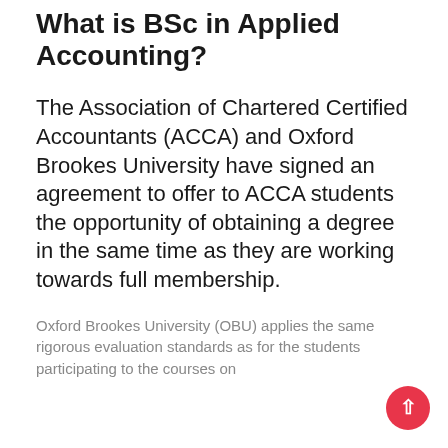What is BSc in Applied Accounting?
The Association of Chartered Certified Accountants (ACCA) and Oxford Brookes University have signed an agreement to offer to ACCA students the opportunity of obtaining a degree in the same time as they are working towards full membership.
Oxford Brookes University (OBU) applies the same rigorous evaluation standards as for the students participating to the courses on